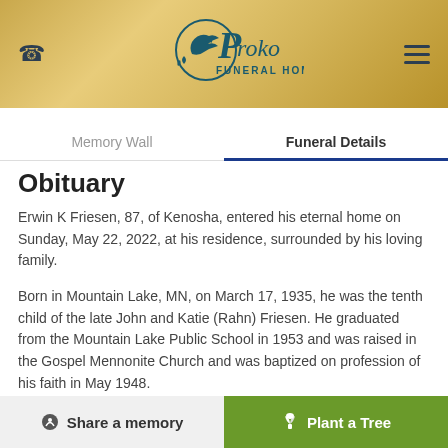[Figure (logo): Proko Funeral Home logo with bird/dove illustration in a circle, teal color on gold background]
Memory Wall   Funeral Details
Obituary
Erwin K Friesen, 87, of Kenosha, entered his eternal home on Sunday, May 22, 2022, at his residence, surrounded by his loving family.
Born in Mountain Lake, MN, on March 17, 1935, he was the tenth child of the late John and Katie (Rahn) Friesen. He graduated from the Mountain Lake Public School in 1953 and was raised in the Gospel Mennonite Church and was baptized on profession of his faith in May 1948.
Share a memory   Plant a Tree